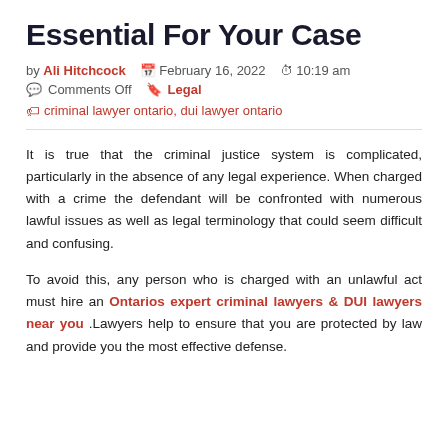Essential For Your Case
by Ali Hitchcock   February 16, 2022   10:19 am
Comments Off   Legal
criminal lawyer ontario, dui lawyer ontario
It is true that the criminal justice system is complicated, particularly in the absence of any legal experience. When charged with a crime the defendant will be confronted with numerous lawful issues as well as legal terminology that could seem difficult and confusing.
To avoid this, any person who is charged with an unlawful act must hire an Ontarios expert criminal lawyers & DUI lawyers near you .Lawyers help to ensure that you are protected by law and provide you the most effective defense.